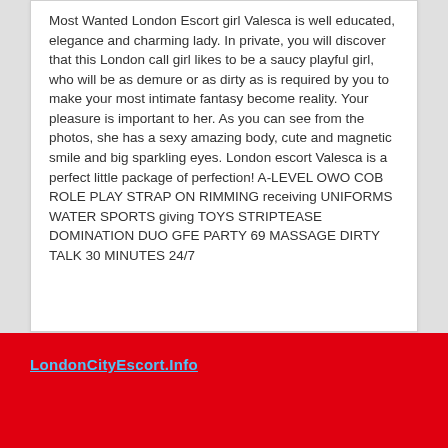Most Wanted London Escort girl Valesca is well educated, elegance and charming lady. In private, you will discover that this London call girl likes to be a saucy playful girl, who will be as demure or as dirty as is required by you to make your most intimate fantasy become reality. Your pleasure is important to her. As you can see from the photos, she has a sexy amazing body, cute and magnetic smile and big sparkling eyes. London escort Valesca is a perfect little package of perfection! A-LEVEL OWO COB ROLE PLAY STRAP ON RIMMING receiving UNIFORMS WATER SPORTS giving TOYS STRIPTEASE DOMINATION DUO GFE PARTY 69 MASSAGE DIRTY TALK 30 MINUTES 24/7
LondonCityEscort.Info